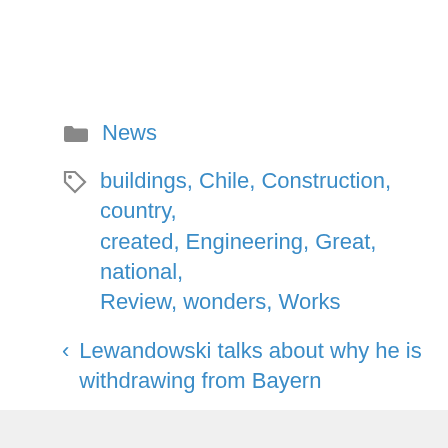News
buildings, Chile, Construction, country, created, Engineering, Great, national, Review, wonders, Works
< Lewandowski talks about why he is withdrawing from Bayern
> A girl killed by her family during an exorcism; her mother then posts a YouTube video